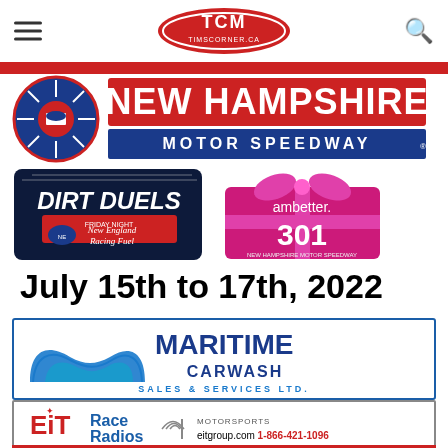TCM TimsCorner.ca
[Figure (logo): New Hampshire Motor Speedway logo with red/blue NH emblem and bold text]
[Figure (logo): Dirt Duels - New England Racing Fuel logo (dark/navy badge) and Ambetter 301 pink gift-box logo]
July 15th to 17th, 2022
[Figure (logo): Maritime Carwash Sales & Services Ltd. advertisement banner with blue M logo]
[Figure (logo): EiT Race Radios Motorsports advertisement - eitgroup.com 1-866-421-1096]